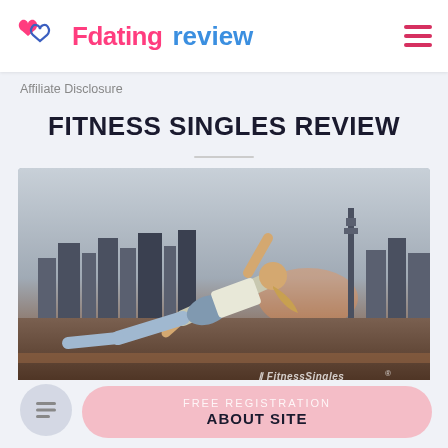Fdating review
Affiliate Disclosure
FITNESS SINGLES REVIEW
[Figure (photo): Woman doing a side plank exercise outdoors with a city skyline in the background at dusk. FitnessSingles logo watermark visible in the bottom right corner.]
FREE REGISTRATION
ABOUT SITE